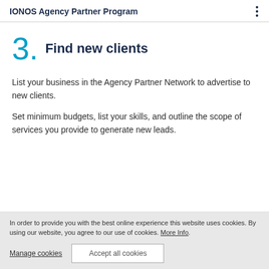IONOS Agency Partner Program
3. Find new clients
List your business in the Agency Partner Network to advertise to new clients.
Set minimum budgets, list your skills, and outline the scope of services you provide to generate new leads.
In order to provide you with the best online experience this website uses cookies. By using our website, you agree to our use of cookies. More Info. Manage cookies. Accept all cookies.